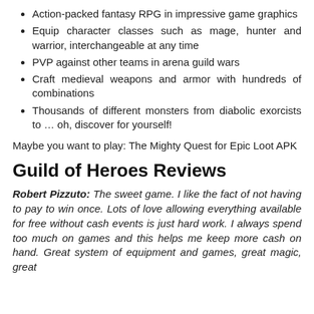Action-packed fantasy RPG in impressive game graphics
Equip character classes such as mage, hunter and warrior, interchangeable at any time
PVP against other teams in arena guild wars
Craft medieval weapons and armor with hundreds of combinations
Thousands of different monsters from diabolic exorcists to … oh, discover for yourself!
Maybe you want to play: The Mighty Quest for Epic Loot APK
Guild of Heroes Reviews
Robert Pizzuto: The sweet game. I like the fact of not having to pay to win once. Lots of love allowing everything available for free without cash events is just hard work. I always spend too much on games and this helps me keep more cash on hand. Great system of equipment and games, great magic, great